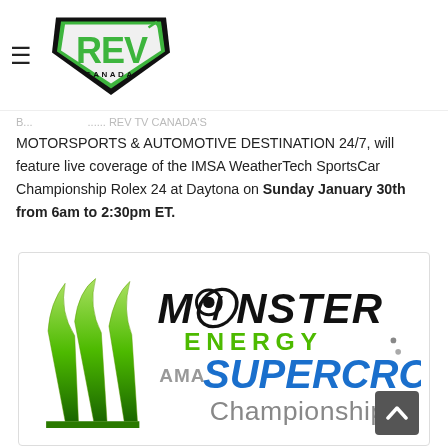REV Canada (logo) — Motorsports & Automotive Destination
MOTORSPORTS & AUTOMOTIVE DESTINATION 24/7, will feature live coverage of the IMSA WeatherTech SportsCar Championship Rolex 24 at Daytona on Sunday January 30th from 6am to 2:30pm ET.
[Figure (logo): Monster Energy AMA Supercross Championship logo — green Monster Energy claw/M icon on left, black stylized MONSTER ENERGY text, grey AMA text, blue SUPERCROSS text, grey Championship text]